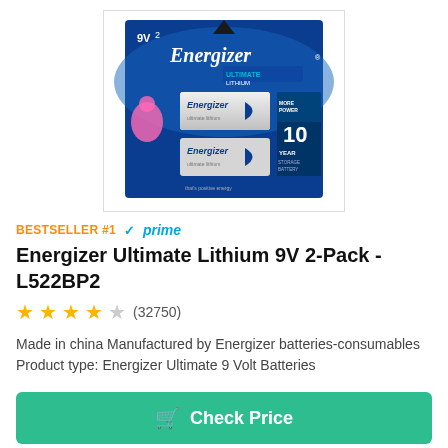[Figure (photo): Energizer Ultimate Lithium 9V 2-Pack battery product image showing two 9V batteries in blue packaging with '10 Year' storage label]
BESTSELLER #1 ✓prime
Energizer Ultimate Lithium 9V 2-Pack - L522BP2
★★★★☆ (32750)
Made in china Manufactured by Energizer batteries-consumables Product type: Energizer Ultimate 9 Volt Batteries
Check Price